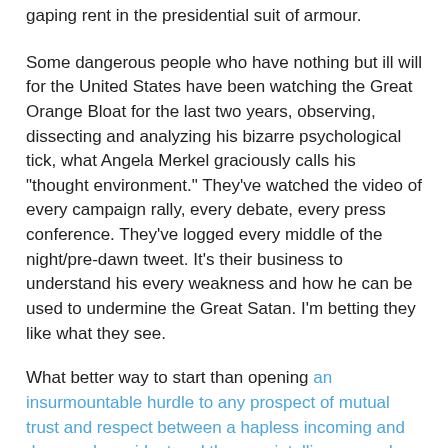gaping rent in the presidential suit of armour.
Some dangerous people who have nothing but ill will for the United States have been watching the Great Orange Bloat for the last two years, observing, dissecting and analyzing his bizarre psychological tick, what Angela Merkel graciously calls his "thought environment." They've watched the video of every campaign rally, every debate, every press conference. They've logged every middle of the night/pre-dawn tweet. It's their business to understand his every weakness and how he can be used to undermine the Great Satan. I'm betting they like what they see.
What better way to start than opening an insurmountable hurdle to any prospect of mutual trust and respect between a hapless incoming and damaged president and the very intelligence and security services he'll so desperately require?
Meanwhile, America's national security and intelligence agencies are shitting bricks. They've discretely run their own assessments of their incoming commander in chief. They